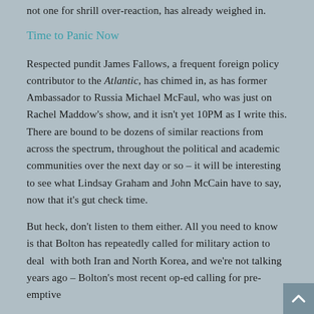not one for shrill over-reaction, has already weighed in.
Time to Panic Now
Respected pundit James Fallows, a frequent foreign policy contributor to the Atlantic, has chimed in, as has former Ambassador to Russia Michael McFaul, who was just on Rachel Maddow's show, and it isn't yet 10PM as I write this. There are bound to be dozens of similar reactions from across the spectrum, throughout the political and academic communities over the next day or so – it will be interesting to see what Lindsay Graham and John McCain have to say, now that it's gut check time.
But heck, don't listen to them either. All you need to know is that Bolton has repeatedly called for military action to deal with both Iran and North Korea, and we're not talking years ago – Bolton's most recent op-ed calling for pre-emptive